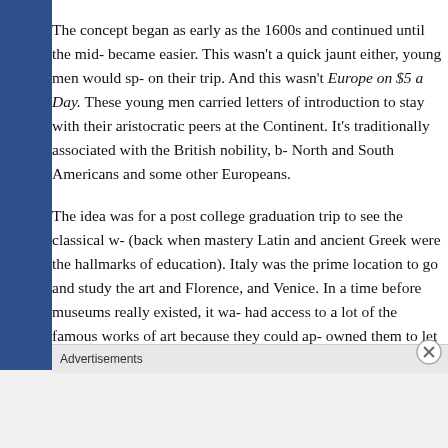The concept began as early as the 1600s and continued until the mid... became easier. This wasn't a quick jaunt either, young men would sp... on their trip. And this wasn't Europe on $5 a Day. These young men... carried letters of introduction to stay with their aristocratic peers at... the Continent. It's traditionally associated with the British nobility, b... North and South Americans and some other Europeans.
The idea was for a post college graduation trip to see the classical w... (back when mastery Latin and ancient Greek were the hallmarks of... education). Italy was the prime location to go and study the art and... Florence, and Venice. In a time before museums really existed, it wa... had access to a lot of the famous works of art because they could ap... owned them to let them in for a look. Inspired by seeing these classi... gentlemen set out to acquire some of their own. They were also i...
Advertisements